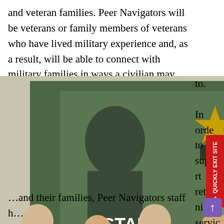and veteran families. Peer Navigators will be veterans or family members of veterans who have lived military experience and, as a result, will be able to connect with military families in ways a civilian may not be able to.

In order to support returning service members and their families, Peer Navigators staff h...
[Figure (photo): Group photo of military personnel in camouflage uniforms and two civilians standing in front of an U.S. Army 'STAND TALL. ARMY STRONG.' banner.]
and their families, Peer Navigators staff h...